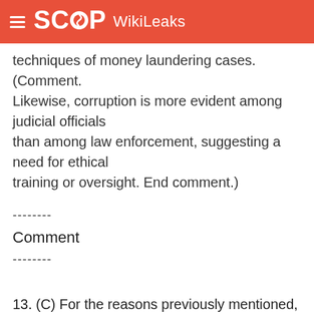SCOOP WikiLeaks
techniques of money laundering cases. (Comment. Likewise, corruption is more evident among judicial officials than among law enforcement, suggesting a need for ethical training or oversight. End comment.)
--------
Comment
--------
13. (C) For the reasons previously mentioned, Panama